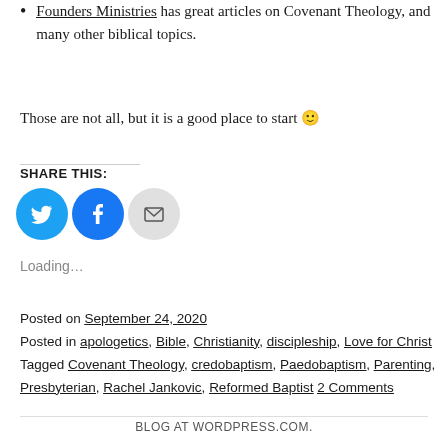Founders Ministries has great articles on Covenant Theology, and many other biblical topics.
Those are not all, but it is a good place to start 🙂
SHARE THIS:
[Figure (infographic): Three social sharing buttons: Twitter (blue circle with bird icon), Facebook (blue circle with f icon), Email (grey circle with envelope icon)]
Loading…
Posted on September 24, 2020
Posted in apologetics, Bible, Christianity, discipleship, Love for Christ
Tagged Covenant Theology, credobaptism, Paedobaptism, Parenting, Presbyterian, Rachel Jankovic, Reformed Baptist 2 Comments
BLOG AT WORDPRESS.COM.